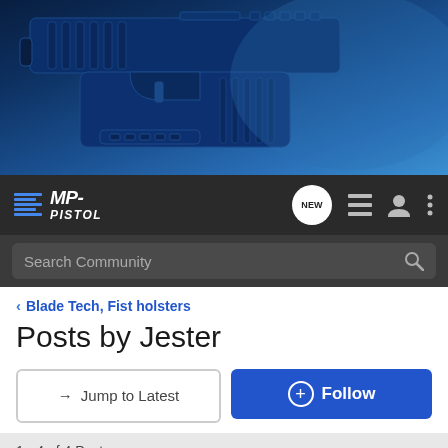[Figure (screenshot): MP-Pistol forum website banner showing a dark blue pistol/firearm on a dark blue gradient background]
[Figure (screenshot): Navigation bar with MP-Pistol logo, NEW chat bubble, list icon, user icon, and three-dot menu icon on dark background]
[Figure (screenshot): Search bar with 'Search Community' placeholder text and magnifying glass icon on dark grey background]
< Blade Tech, Fist holsters
Posts by Jester
→ Jump to Latest
+ Follow
1 - 4 of 4 Posts
Jester · Site Founder 🇺🇸
Joined Mar 8, 2006 · 2,889 Posts